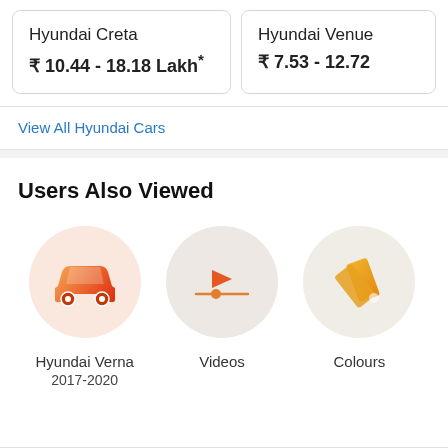Hyundai Creta ₹ 10.44 - 18.18 Lakh*
Hyundai Venue ₹ 7.53 - 12.72
View All Hyundai Cars
Users Also Viewed
[Figure (illustration): Car icon in orange gradient inside a light pink circle, representing Hyundai Verna 2017-2020]
Hyundai Verna
2017-2020
[Figure (illustration): Video play button icon in orange inside a light beige circle, representing Videos]
Videos
[Figure (illustration): Color swatch/paint icon in yellow-orange inside a light beige circle, representing Colours]
Colours